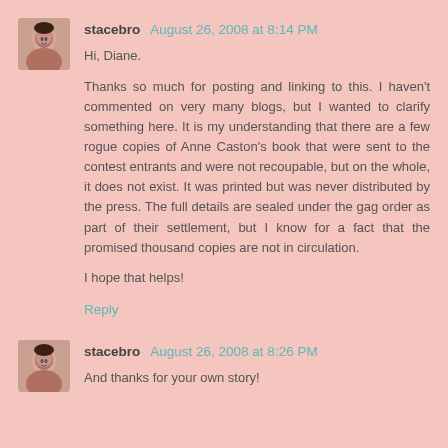[Figure (photo): Avatar photo of user stacebro – woman smiling]
stacebro August 26, 2008 at 8:14 PM
Hi, Diane.

Thanks so much for posting and linking to this. I haven't commented on very many blogs, but I wanted to clarify something here. It is my understanding that there are a few rogue copies of Anne Caston's book that were sent to the contest entrants and were not recoupable, but on the whole, it does not exist. It was printed but was never distributed by the press. The full details are sealed under the gag order as part of their settlement, but I know for a fact that the promised thousand copies are not in circulation.

I hope that helps!
Reply
[Figure (photo): Avatar photo of user stacebro – woman smiling]
stacebro August 26, 2008 at 8:26 PM
And thanks for your own story!